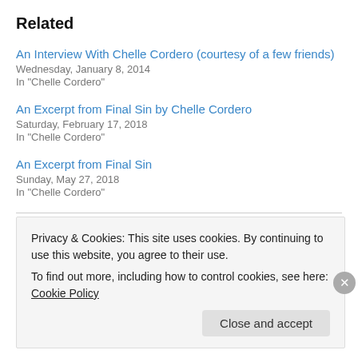Related
An Interview With Chelle Cordero (courtesy of a few friends)
Wednesday, January 8, 2014
In "Chelle Cordero"
An Excerpt from Final Sin by Chelle Cordero
Saturday, February 17, 2018
In "Chelle Cordero"
An Excerpt from Final Sin
Sunday, May 27, 2018
In "Chelle Cordero"
Privacy & Cookies: This site uses cookies. By continuing to use this website, you agree to their use. To find out more, including how to control cookies, see here: Cookie Policy